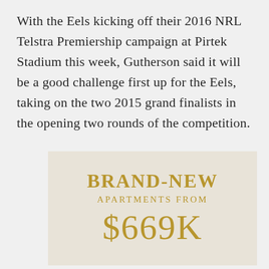With the Eels kicking off their 2016 NRL Telstra Premiership campaign at Pirtek Stadium this week, Gutherson said it will be a good challenge first up for the Eels, taking on the two 2015 grand finalists in the opening two rounds of the competition.
[Figure (infographic): Advertisement banner with beige/tan background showing text: BRAND-NEW APARTMENTS FROM $669K in gold/khaki colored text]